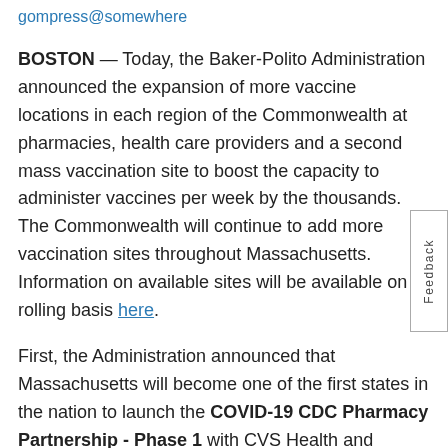gompress@somewhere
BOSTON — Today, the Baker-Polito Administration announced the expansion of more vaccine locations in each region of the Commonwealth at pharmacies, health care providers and a second mass vaccination site to boost the capacity to administer vaccines per week by the thousands. The Commonwealth will continue to add more vaccination sites throughout Massachusetts. Information on available sites will be available on a rolling basis here.
First, the Administration announced that Massachusetts will become one of the first states in the nation to launch the COVID-19 CDC Pharmacy Partnership - Phase 1 with CVS Health and Walgreens pharmacies located throughout the